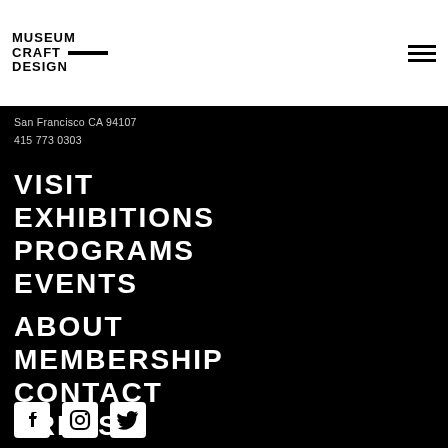MUSEUM CRAFT DESIGN — navigation header with hamburger menu
San Francisco CA 94107
415 773 0303
VISIT
EXHIBITIONS
PROGRAMS
EVENTS
ABOUT
MEMBERSHIP
CONTACT
PRESS
[Figure (infographic): Three social media icons: Facebook, Instagram, Twitter, displayed as white squares with black icons on black background]